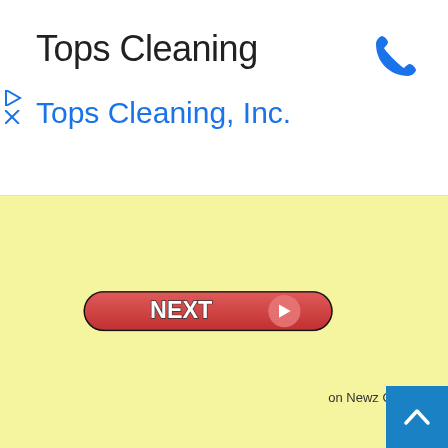Tops Cleaning
Tops Cleaning, Inc.
[Figure (screenshot): NEXT button with right arrow on yellow background]
on Newz Online